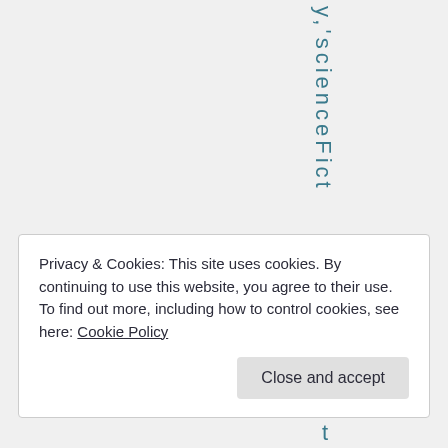y,'scienceFict
Privacy & Cookies: This site uses cookies. By continuing to use this website, you agree to their use.
To find out more, including how to control cookies, see here: Cookie Policy
Close and accept
t